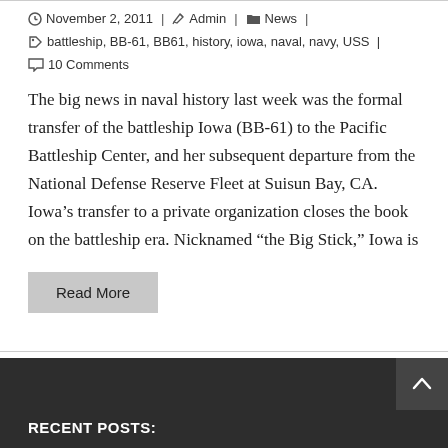November 2, 2011  |  Admin  |  News  |
battleship, BB-61, BB61, history, iowa, naval, navy, USS  |
10 Comments
The big news in naval history last week was the formal transfer of the battleship Iowa (BB-61) to the Pacific Battleship Center, and her subsequent departure from the National Defense Reserve Fleet at Suisun Bay, CA. Iowa’s transfer to a private organization closes the book on the battleship era. Nicknamed “the Big Stick,” Iowa is
Read More
RECENT POSTS: